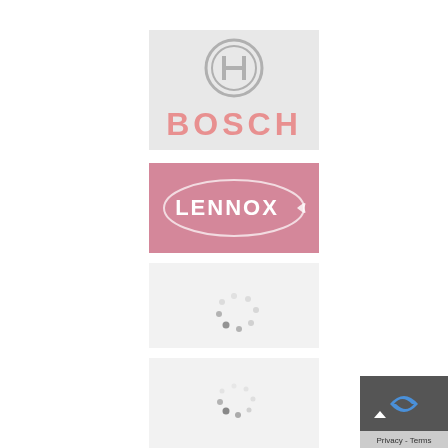[Figure (logo): Bosch logo: circular Bosch emblem in gray above the text 'BOSCH' in pink/salmon color, on a light gray background]
[Figure (logo): Lennox logo: white 'LENNOX' text with oval swoosh element on a pink/dusty rose background]
[Figure (other): Loading spinner dots on a light gray/white background]
[Figure (other): Loading spinner dots on a light gray/white background (partially visible at bottom)]
[Figure (other): Google reCAPTCHA widget partially visible at bottom right corner, with 'Privacy - Terms' text]